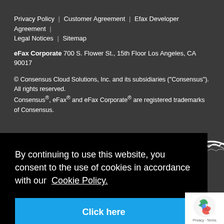Privacy Policy | Customer Agreement | Efax Developer Agreement | Legal Notices | Sitemap
eFax Corporate 700 S. Flower St., 15th Floor Los Angeles, CA 90017
© Consensus Cloud Solutions, Inc. and its subsidiaries ("Consensus"). All rights reserved.
Consensus®, eFax® and eFax Corporate® are registered trademarks of Consensus.
[Figure (logo): Partial badge/seal logo partially visible at bottom right of dark background area]
By continuing to use this website, you consent to the use of cookies in accordance with our Cookie Policy.
Click here
[Figure (logo): Google reCAPTCHA badge with recycle-arrow logo and Privacy/Terms text]